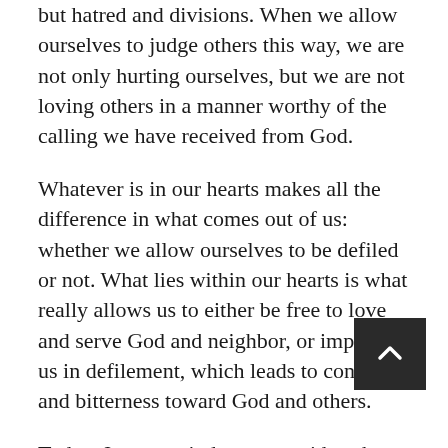but hatred and divisions. When we allow ourselves to judge others this way, we are not only hurting ourselves, but we are not loving others in a manner worthy of the calling we have received from God.
Whatever is in our hearts makes all the difference in what comes out of us: whether we allow ourselves to be defiled or not. What lies within our hearts is what really allows us to either be free to love and serve God and neighbor, or imprison us in defilement, which leads to contempt and bitterness toward God and others.
Today, Jesus reminds us to avoid such defilement because he knows that it can lead a self-professed religious person to appear hypocritical to others. God dislikes hypocrisy. In fact,